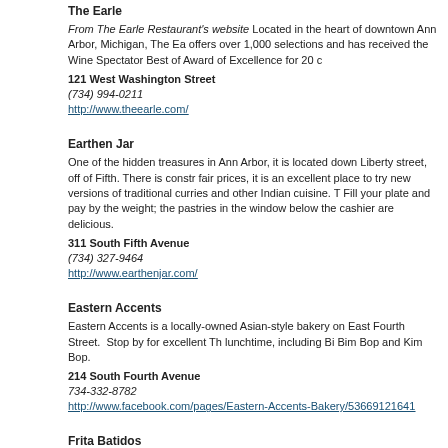The Earle
From The Earle Restaurant's website Located in the heart of downtown Ann Arbor, Michigan, The Earle offers over 1,000 selections and has received the Wine Spectator Best of Award of Excellence for 20 c...
121 West Washington Street
(734) 994-0211
http://www.theearle.com/
Earthen Jar
One of the hidden treasures in Ann Arbor, it is located down Liberty street, off of Fifth. There is const... fair prices, it is an excellent place to try new versions of traditional curries and other Indian cuisine. Th... Fill your plate and pay by the weight; the pastries in the window below the cashier are delicious.
311 South Fifth Avenue
(734) 327-9464
http://www.earthenjar.com/
Eastern Accents
Eastern Accents is a locally-owned Asian-style bakery on East Fourth Street. Stop by for excellent Th... lunchtime, including Bi Bim Bop and Kim Bop.
214 South Fourth Avenue
734-332-8782
http://www.facebook.com/pages/Eastern-Accents-Bakery/53669121641
Frita Batidos